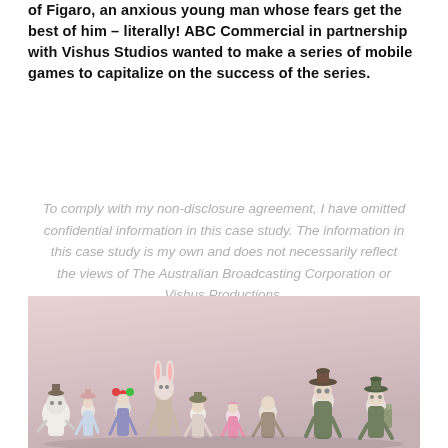of Figaro, an anxious young man whose fears get the best of him – literally!  ABC Commercial in partnership with Vishus Studios wanted to make a series of mobile games to capitalize on the success of the series.
To comply with my non-disclosure agreement, I have omitted confidential information in this case study. The information in this case study is my own and does not necessarily reflect the views of The Australian Broadcasting Corporation or Vishus Productions.
[Figure (photo): Group of animated cartoon characters from what appears to be the Figaro series, standing in a line on a gradient pink/beige background. Characters include various quirky figures with different costumes and accessories.]